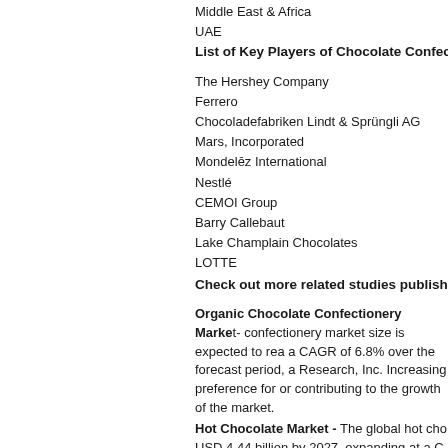Middle East & Africa
UAE
List of Key Players of Chocolate Confectionery
The Hershey Company
Ferrero
Chocoladefabriken Lindt & Sprüngli AG
Mars, Incorporated
Mondelēz International
Nestlé
CEMOI Group
Barry Callebaut
Lake Champlain Chocolates
LOTTE
Check out more related studies published b
Organic Chocolate Confectionery Market - confectionery market size is expected to reach a CAGR of 6.8% over the forecast period, according to Research, Inc. Increasing preference for organic contributing to the growth of the market.
Hot Chocolate Market - The global hot chocolate market is expected to reach USD 4.44 billion by 2027, expanding at a CAGR according to a new report by Grand View Research. Growing awareness among consumers regarding associated health benefits is expected to drive the market.
Sugar-free Confectionery Market - The global sugar-free confectionery market is expected to reach USD 2.81 billion by 2027, according to Research, Inc., expanding at a CAGR of 5. regarding health and wellness among millennial